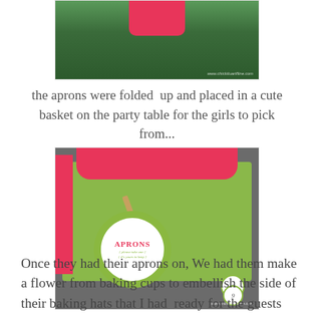[Figure (photo): Top portion of a photo showing a pink apron/fabric item laid out on green grass, with a website watermark in the lower right corner.]
the aprons were folded  up and placed in a cute basket on the party table for the girls to pick from...
[Figure (photo): A wire basket filled with colorful folded aprons in pink and green polka dot fabric. A circular sign on the basket reads 'APRONS please take one it's yours to keep!' with a green border. A wooden clothespin is visible. Number tags are on the right side.]
Once they had their aprons on, We had them make a flower from baking cups to embellish the side of their baking hats that I had  ready for the guests complete